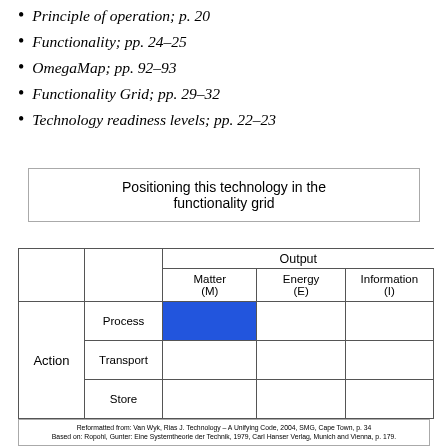Principle of operation; p. 20
Functionality; pp. 24–25
OmegaMap; pp. 92–93
Functionality Grid; pp. 29–32
Technology readiness levels; pp. 22–23
Positioning this technology in the functionality grid
|  |  | Matter (M) | Energy (E) | Information (I) |
| --- | --- | --- | --- | --- |
|  | Process | [blue] |  |  |
| Action | Transport |  |  |  |
|  | Store |  |  |  |
Reformatted from: Van Wyk, Rias J. Technology – A Unifying Code, 2004, SMG, Cape Town, p. 34
Based on: Ropohl, Gunter: Eine Systemtheorie der Technik, 1979, Carl Hanser Verlag, Munich and Vienna, p. 179.